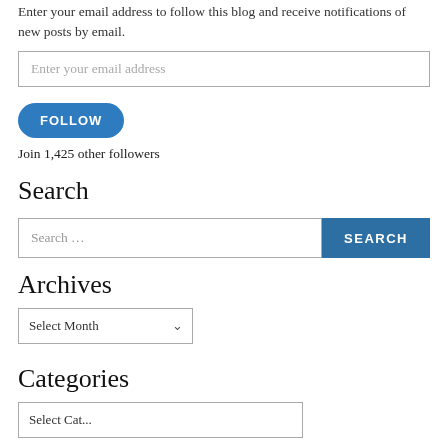Enter your email address to follow this blog and receive notifications of new posts by email.
Enter your email address
FOLLOW
Join 1,425 other followers
Search
Search ...
SEARCH
Archives
Select Month
Categories
Select Cat...